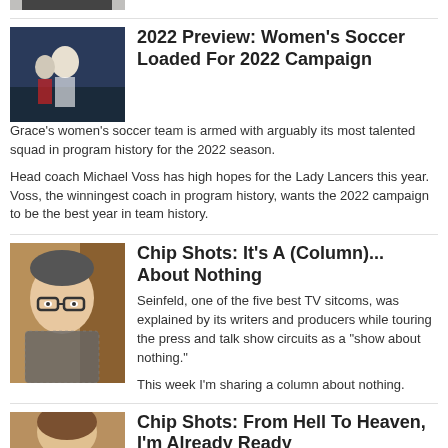[Figure (photo): Top partial: person photo cropped at top]
way too busy a time to focus on just one thing.
[Figure (photo): Women's soccer players on field at night game]
2022 Preview: Women's Soccer Loaded For 2022 Campaign
Grace's women's soccer team is armed with arguably its most talented squad in program history for the 2022 season.
Head coach Michael Voss has high hopes for the Lady Lancers this year. Voss, the winningest coach in program history, wants the 2022 campaign to be the best year in team history.
[Figure (photo): Headshot of Chip, a middle-aged man with glasses]
Chip Shots: It's A (Column)... About Nothing
Seinfeld, one of the five best TV sitcoms, was explained by its writers and producers while touring the press and talk show circuits as a "show about nothing."
This week I'm sharing a column about nothing.
[Figure (photo): Partial headshot of person at bottom of page]
Chip Shots: From Hell To Heaven, I'm Already Ready